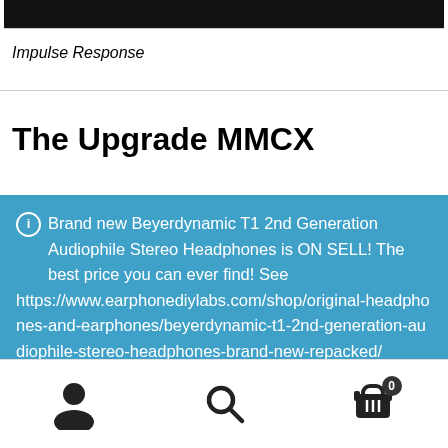[Figure (screenshot): Dark header/chart bar at top of page with axis line and small labels]
Impulse Response
The Upgrade MMCX
Brand new Beyerdynamic T1 2nd Generation Audiophile Stereo Headphones is ON SELL! The best price you can ever find! See https://www.earphonediylabs.com/shop/original-headphones-and-earphones/beyerdynamic-t1-2nd-generation-audiophile-stereo-headphones-brand-new-repacked/ Dismiss
[Figure (infographic): Bottom navigation bar with user icon, search icon, and cart icon with badge 0]